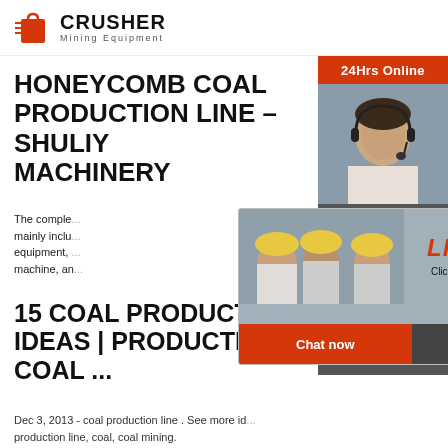[Figure (logo): Crusher Mining Equipment logo with red shopping bag/crusher icon and bold CRUSHER text with Mining Equipment tagline]
HONEYCOMB COAL PRODUCTION LINE – SHULIY MACHINERY
The complete ... mainly inclu... equipment, ... machine, an...
15 COAL PRODUCTION IDEAS | PRODUCTION COAL ...
Dec 3, 2013 - coal production line . See more id... production line, coal, coal mining.
BLUE-COKE PRODUCTION
[Figure (screenshot): Live Chat popup overlay showing workers in hard hats, LIVE CHAT text in red italic, Click for a Free Consultation, Chat now and Chat later buttons]
[Figure (photo): Right sidebar with 24Hrs Online banner, customer service representative with headset, Need questions & suggestion section, Chat Now button, Enquiry section, limingjlmofen@sina.com email]